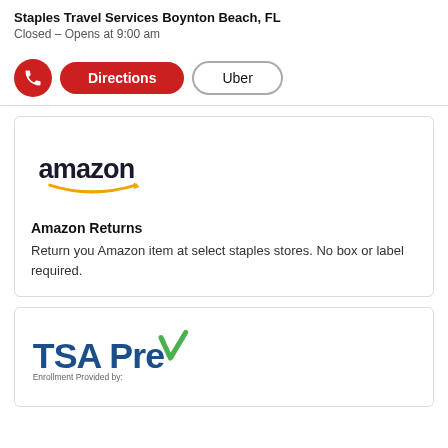Staples Travel Services Boynton Beach, FL
Closed – Opens at 9:00 am
[Figure (infographic): Row of action buttons: red phone icon button, red Directions button, and outlined Uber button]
[Figure (logo): Amazon logo with orange smile arrow]
Amazon Returns
Return you Amazon item at select staples stores. No box or label required.
[Figure (logo): TSA PreCheck logo with green checkmark. Enrollment Provided by: with partial logo below.]